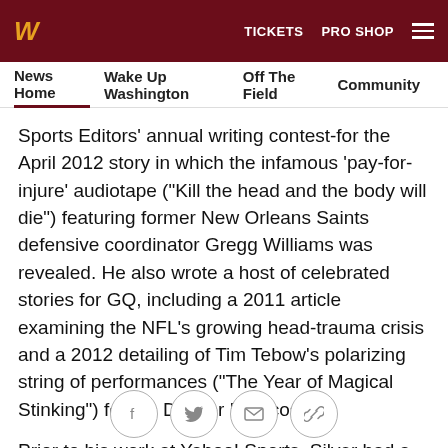W  TICKETS  PRO SHOP
News Home  Wake Up Washington  Off The Field  Community
Sports Editors' annual writing contest-for the April 2012 story in which the infamous 'pay-for-injure' audiotape ("Kill the head and the body will die") featuring former New Orleans Saints defensive coordinator Gregg Williams was revealed. He also wrote a host of celebrated stories for GQ, including a 2011 article examining the NFL's growing head-trauma crisis and a 2012 detailing of Tim Tebow's polarizing string of performances ("The Year of Magical Stinking") for the Denver Broncos.
Prior to his work at Yahoo! Sports, Silver had a 13-plus-year career at Sports Illustrated, where he wrote more
[Figure (other): Social sharing buttons: Facebook, Twitter, Email, Link]